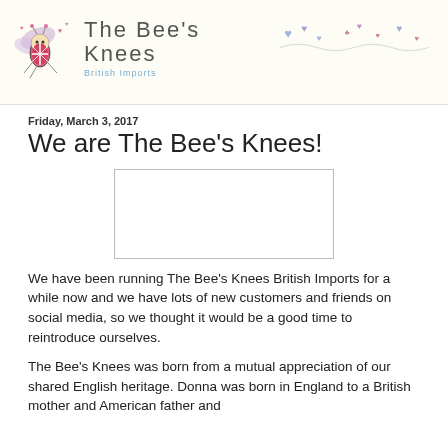The Bee's Knees British Imports
Friday, March 3, 2017
We are The Bee's Knees!
[Figure (photo): An embedded image placeholder (white rectangle with border), likely a photo related to The Bee's Knees British Imports.]
We have been running The Bee's Knees British Imports for a while now and we have lots of new customers and friends on social media, so we thought it would be a good time to reintroduce ourselves.
The Bee's Knees was born from a mutual appreciation of our shared English heritage. Donna was born in England to a British mother and American father and